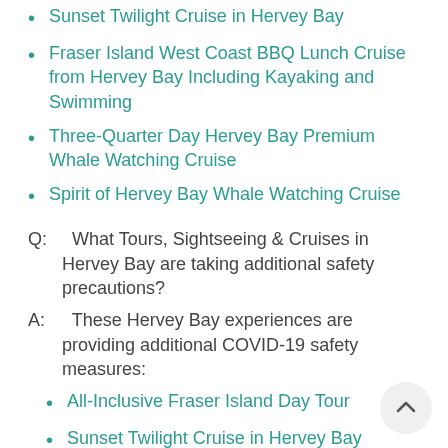Sunset Twilight Cruise in Hervey Bay
Fraser Island West Coast BBQ Lunch Cruise from Hervey Bay Including Kayaking and Swimming
Three-Quarter Day Hervey Bay Premium Whale Watching Cruise
Spirit of Hervey Bay Whale Watching Cruise
Q:  What Tours, Sightseeing & Cruises in Hervey Bay are taking additional safety precautions?
A:  These Hervey Bay experiences are providing additional COVID-19 safety measures:
All-Inclusive Fraser Island Day Tour
Sunset Twilight Cruise in Hervey Bay
Three-Quarter Day Hervey Bay Premium Whale Watching Cruise
Spirit of Hervey Bay Whale Watching Cruise